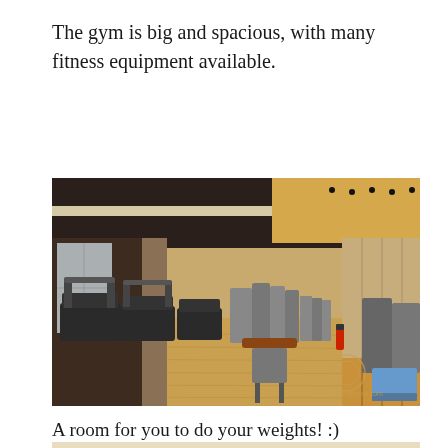The gym is big and spacious, with many fitness equipment available.
[Figure (photo): Interior of a large hotel gym with treadmills on the left, various weight machines in the middle and right, wooden flooring, high ceiling with recessed lighting, and a watermarked logo in the bottom right corner.]
A room for you to do your weights! :)
[Figure (photo): Partial view of another gym room with fluorescent lighting on the ceiling and exercise equipment visible, cropped at the bottom of the page.]